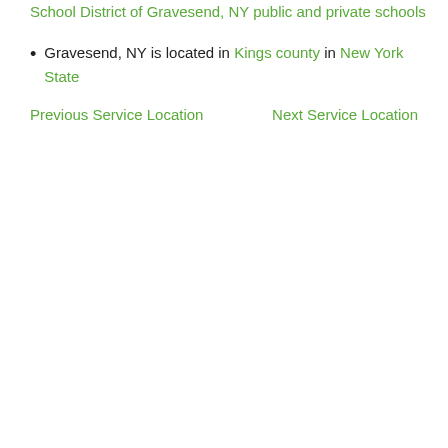School District of Gravesend, NY public and private schools
Gravesend, NY is located in Kings county in New York State
Previous Service Location    Next Service Location